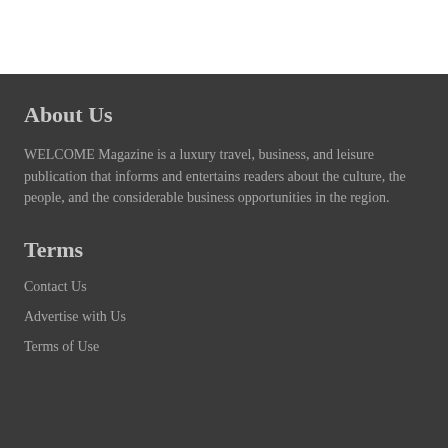About Us
WELCOME Magazine is a luxury travel, business, and leisure publication that informs and entertains readers about the culture, the people, and the considerable business opportunities in the region.
Terms
Contact Us
Advertise with Us
Terms of Use